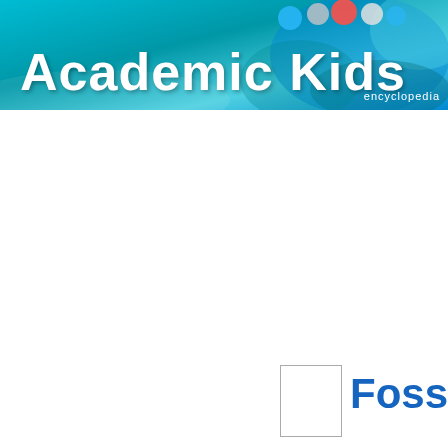Academic Kids encyclopedia
Fossil